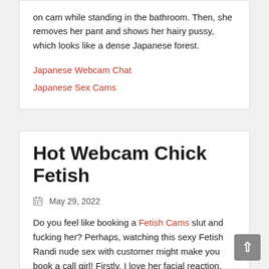on cam while standing in the bathroom. Then, she removes her pant and shows her hairy pussy, which looks like a dense Japanese forest.
Japanese Webcam Chat
Japanese Sex Cams
Hot Webcam Chick Fetish
May 29, 2022
Do you feel like booking a Fetish Cams slut and fucking her? Perhaps, watching this sexy Fetish Randi nude sex with customer might make you book a call girl! Firstly, I love her facial reaction, then, her boobs, and then, her hot and sexy pussy! This Fetish village sex has got this